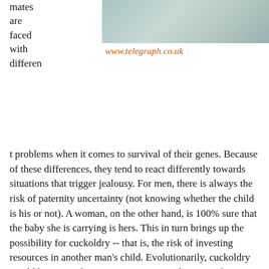[Figure (photo): Photo of two people, partially visible, one with arms crossed, light teal/grey tones]
www.telegraph.co.uk
mates are faced with different problems when it comes to survival of their genes. Because of these differences, they tend to react differently towards situations that trigger jealousy. For men, there is always the risk of paternity uncertainty (not knowing whether the child is his or not). A woman, on the other hand, is 100% sure that the baby she is carrying is hers. This in turn brings up the possibility for cuckoldry -- that is, the risk of investing resources in another man's child. Evolutionarily, cuckoldry would have posed a great cost to ancestral men, as they would have been giving up other mating opportunities in order to raise a child who wasn't genetically related to him. Thus, men are predicted to be more sensitive to cues of sexual infidelity (when a partner pursues sexual interactions with another individual). By